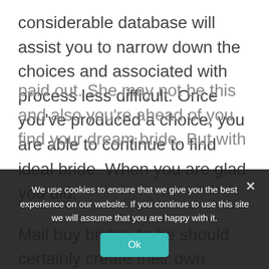considerable database will assist you to narrow down the choices and associated with process less difficult. Once you've produced a choice, you are able to continue to find ideal bride. When you are glad you did.
Mail buy brides-to-be should certainly create their own personal website. These sites are easy to employ and don't cost you a thing. Those people who are serious about finding their very own perfect star of the wedding
paid out. She may not be this and also you're ahead of you find your dream bride. But with
We use cookies to ensure that we give you the best experience on our website. If you continue to use this site we will assume that you are happy with it.